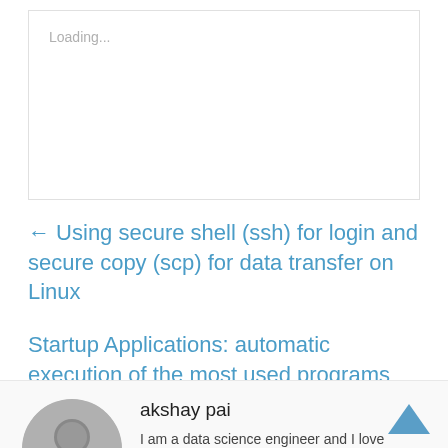Loading...
← Using secure shell (ssh) for login and secure copy (scp) for data transfer on Linux
Startup Applications: automatic execution of the most used programs during every user login →
akshay pai
I am a data science engineer and I love working on machine learning problems. I